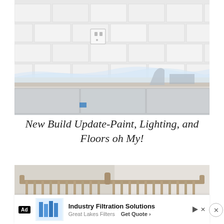[Figure (photo): Kitchen backsplash with white subway tiles and an electrical outlet visible. Countertop area covered with plastic sheeting and construction materials, cabinet drawers visible below.]
New Build Update-Paint, Lighting, and Floors oh My!
[Figure (photo): A metal crib or railing structure in a room under construction, with white fabric and other materials visible in the background.]
Ad  Industry Filtration Solutions  Great Lakes Filters  Get Quote